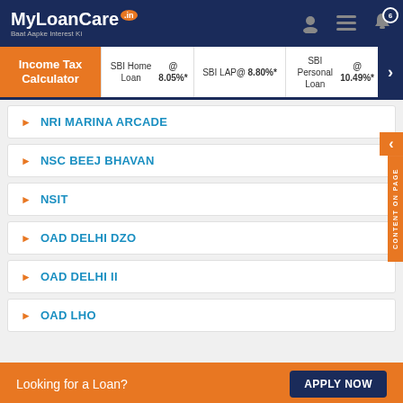MyLoanCare.in - Baat Aapke Interest Ki
Income Tax Calculator | SBI Home Loan @ 8.05%* | SBI LAP @ 8.80%* | SBI Personal Loan @ 10.49%*
NRI MARINA ARCADE
NSC BEEJ BHAVAN
NSIT
OAD DELHI DZO
OAD DELHI II
OAD LHO
Looking for a Loan? APPLY NOW